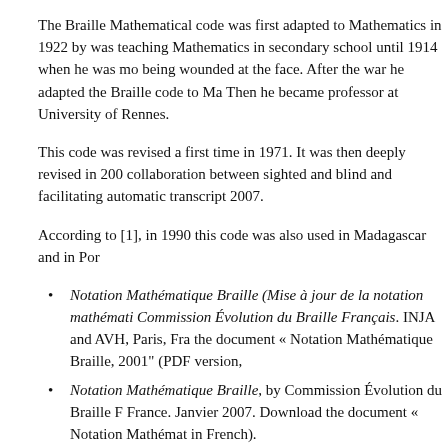The Braille Mathematical code was first adapted to Mathematics in 1922 by was teaching Mathematics in secondary school until 1914 when he was mo being wounded at the face. After the war he adapted the Braille code to Ma Then he became professor at University of Rennes.
This code was revised a first time in 1971. It was then deeply revised in 200 collaboration between sighted and blind and facilitating automatic transcript 2007.
According to [1], in 1990 this code was also used in Madagascar and in Por
Notation Mathématique Braille (Mise à jour de la notation mathémati Commission Évolution du Braille Français. INJA and AVH, Paris, Fra the document « Notation Mathématique Braille, 2001" (PDF version,
Notation Mathématique Braille, by Commission Évolution du Braille F France. Janvier 2007. Download the document « Notation Mathémat in French).
Marburg
Marburg is used in German speaking countries. It was designed in 1955 in Germany by Helmut Epheser, Karl Britz and Friedrich Mittelsten Scheid. A h edition was published in 1986.
This code is at least used in Germany, Austria and Poland (with minor vari